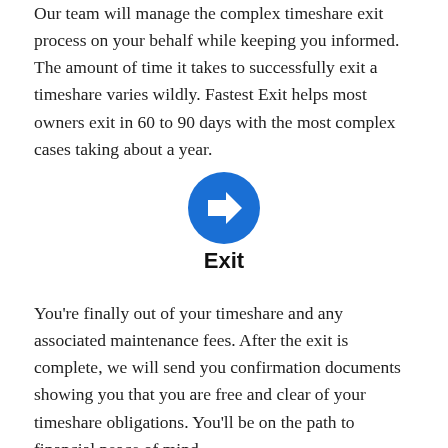Our team will manage the complex timeshare exit process on your behalf while keeping you informed. The amount of time it takes to successfully exit a timeshare varies wildly. Fastest Exit helps most owners exit in 60 to 90 days with the most complex cases taking about a year.
[Figure (illustration): Blue circle with white right-pointing arrow icon]
Exit
You're finally out of your timeshare and any associated maintenance fees. After the exit is complete, we will send you confirmation documents showing you that you are free and clear of your timeshare obligations. You'll be on the path to financial peace of mind.